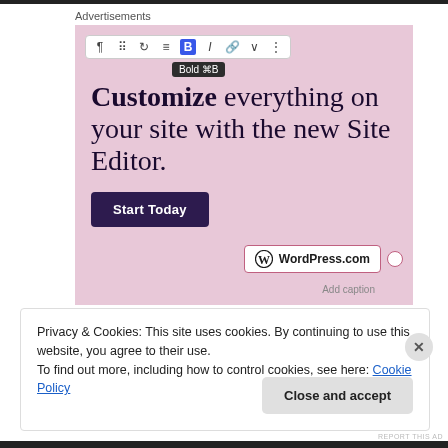Advertisements
[Figure (screenshot): WordPress.com advertisement showing a pink background with toolbar, headline 'Customize everything on your site with the new Site Editor.', a 'Start Today' button, and WordPress.com logo. A Bold tooltip is visible on the toolbar.]
Privacy & Cookies: This site uses cookies. By continuing to use this website, you agree to their use.
To find out more, including how to control cookies, see here: Cookie Policy
Close and accept